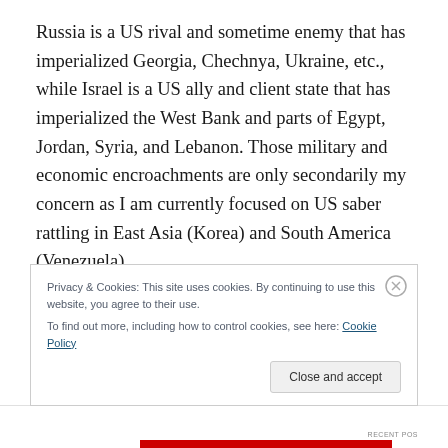Russia is a US rival and sometime enemy that has imperialized Georgia, Chechnya, Ukraine, etc., while Israel is a US ally and client state that has imperialized the West Bank and parts of Egypt, Jordan, Syria, and Lebanon. Those military and economic encroachments are only secondarily my concern as I am currently focused on US saber rattling in East Asia (Korea) and South America (Venezuela).
Privacy & Cookies: This site uses cookies. By continuing to use this website, you agree to their use.
To find out more, including how to control cookies, see here: Cookie Policy